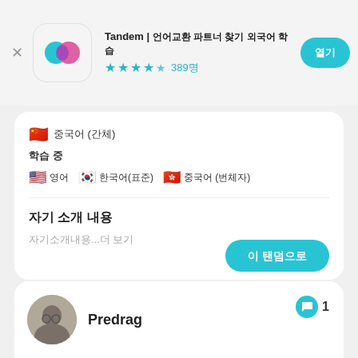Tandem | 언어교환 파트너 찾기 외국어 학습
★★★★½ 389명
🇨🇳 중국어 (간체)
학습 중
🇺🇸 영어   🇰🇷 한국어(표준)   🇭🇰 중국어 (번체자)
자기 소개 내용
자기소개내용...더 보기
이 탠덤으로
Predrag
💬 1